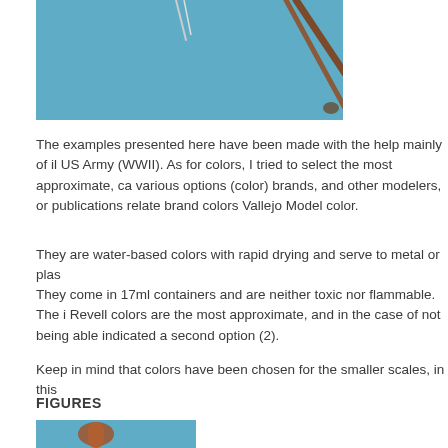[Figure (photo): Top portion of a photo showing painting tools including a brush on a blue background]
The examples presented here have been made with the help mainly of il US Army (WWII). As for colors, I tried to select the most approximate, ca various options (color) brands, and other modelers, or publications relate brand colors Vallejo Model color.
They are water-based colors with rapid drying and serve to metal or plas
They come in 17ml containers and are neither toxic nor flammable. The i Revell colors are the most approximate, and in the case of not being able indicated a second option (2).
Keep in mind that colors have been chosen for the smaller scales, in this
FIGURES
[Figure (photo): Photo showing a close-up of a finger or small object against a blue background]